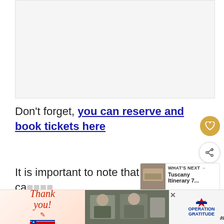[Figure (other): Advertisement placeholder area (blank/white rectangle)]
Don't forget, you can reserve and book tickets here
It is important to note that this ca... located on the Ponte Sant'Angelo, which is
[Figure (other): What's Next panel showing Tuscany Itinerary 7...]
[Figure (other): Bottom advertisement banner: Thank you Operation Gratitude]